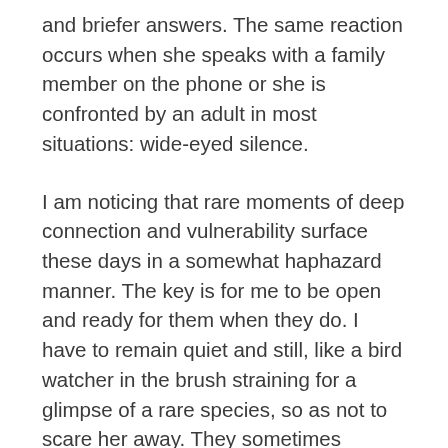and briefer answers. The same reaction occurs when she speaks with a family member on the phone or she is confronted by an adult in most situations: wide-eyed silence.
I am noticing that rare moments of deep connection and vulnerability surface these days in a somewhat haphazard manner. The key is for me to be open and ready for them when they do. I have to remain quiet and still, like a bird watcher in the brush straining for a glimpse of a rare species, so as not to scare her away. They sometimes appear when I drive my child to dance class on a dark and rainy evening, accompanied by the rhythmic swipe of the windshield wipers. They show up as we walk to the corner to meet her friends for school on a crisp morning, or while I rub her back with lavender oil as she struggles to find sleep at night. It is in these